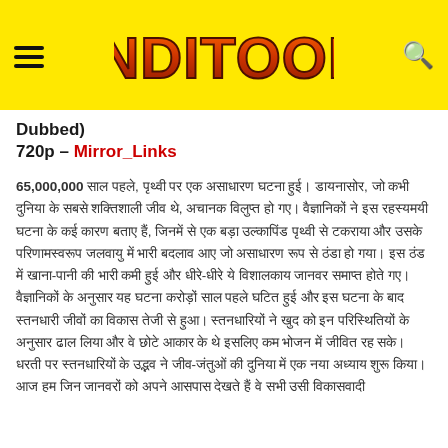[Figure (logo): HindiToons website header with yellow background, hamburger menu icon on left, HINDITOONS logo in center with orange/red flame-style lettering, and search icon on right]
Dubbed)
720p – Mirror_Links
65,000,000 [Hindi text paragraph about cartoon content]